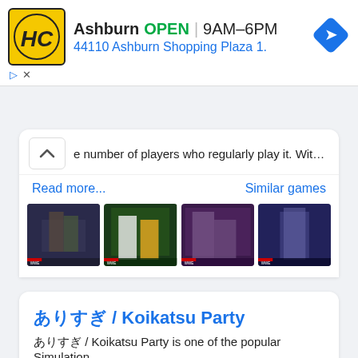[Figure (screenshot): Advertisement banner: HC logo (yellow/black), Ashburn OPEN 9AM-6PM, 44110 Ashburn Shopping Plaza 1., blue navigation diamond icon]
e number of players who regularly play it. With t…
Read more...
Similar games
[Figure (photo): Four WWE 2K wrestling game screenshots side by side]
ありすぎ / Koikatsu Party
ありすぎ / Koikatsu Party is one of the popular Simulation